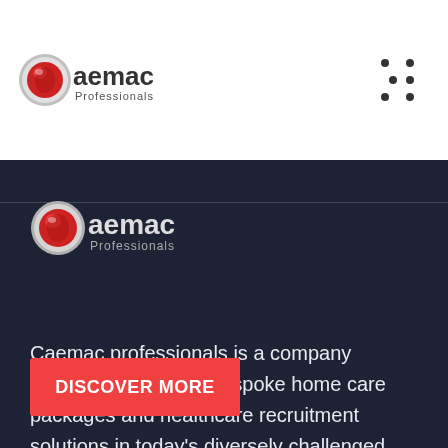[Figure (logo): Caemac Professionals logo in white header bar]
[Figure (logo): Caemac Professionals logo in dark section]
Caemac professionals is a company designed to provide bespoke home care packages and healthcare recruitment solutions in today's diversely challenged environment.
DISCOVER MORE